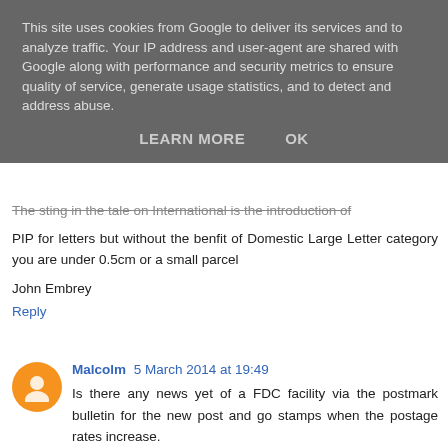This site uses cookies from Google to deliver its services and to analyze traffic. Your IP address and user-agent are shared with Google along with performance and security metrics to ensure quality of service, generate usage statistics, and to detect and address abuse.
LEARN MORE    OK
The sting in the tale on International is the introduction of PIP for letters but without the benfit of Domestic Large Letter category you are under 0.5cm or a small parcel
John Embrey
Reply
Malcolm  5 March 2014 at 19:49
Is there any news yet of a FDC facility via the postmark bulletin for the new post and go stamps when the postage rates increase.
Reply